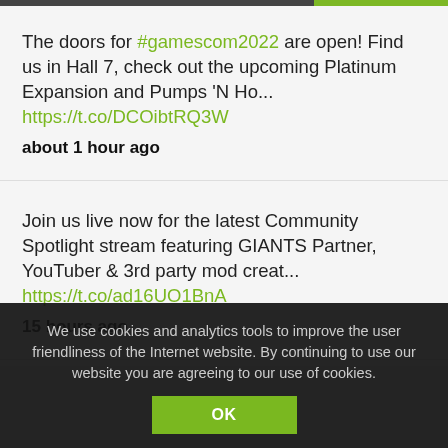The doors for #gamescom2022 are open! Find us in Hall 7, check out the upcoming Platinum Expansion and Pumps 'N Ho... https://t.co/DCOibtRQ3W
about 1 hour ago
Join us live now for the latest Community Spotlight stream featuring GIANTS Partner, YouTuber & 3rd party mod creat... https://t.co/ad16UO1BnA
15 hours ago
#gamescom2022 starts tomorrow and we'll be right there when it opens. Find us in Hall 7!
We use cookies and analytics tools to improve the user friendliness of the Internet website. By continuing to use our website you are agreeing to our use of cookies.